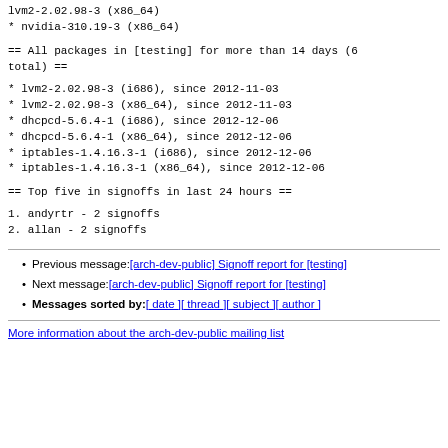* lvm2-2.02.98-3 (x86_64)
* nvidia-310.19-3 (x86_64)
== All packages in [testing] for more than 14 days (6 total) ==
* lvm2-2.02.98-3 (i686), since 2012-11-03
* lvm2-2.02.98-3 (x86_64), since 2012-11-03
* dhcpcd-5.6.4-1 (i686), since 2012-12-06
* dhcpcd-5.6.4-1 (x86_64), since 2012-12-06
* iptables-1.4.16.3-1 (i686), since 2012-12-06
* iptables-1.4.16.3-1 (x86_64), since 2012-12-06
== Top five in signoffs in last 24 hours ==
1. andyrtr - 2 signoffs
2. allan - 2 signoffs
Previous message: [arch-dev-public] Signoff report for [testing]
Next message: [arch-dev-public] Signoff report for [testing]
Messages sorted by: [ date ] [ thread ] [ subject ] [ author ]
More information about the arch-dev-public mailing list